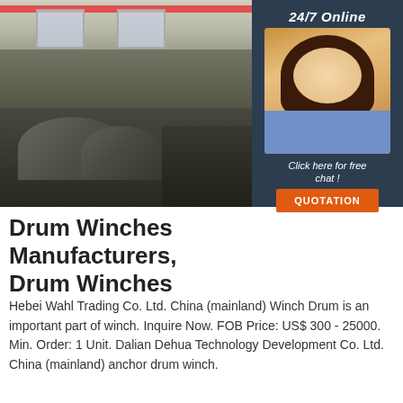[Figure (photo): Interior of a factory/warehouse with industrial machinery, large metal rolls/drums on floor, red overhead crane beam, windows letting in light, and a customer service agent (woman with headset) in the right panel with '24/7 Online' badge and 'Click here for free chat!' text and QUOTATION button]
Drum Winches Manufacturers, Drum Winches
Hebei Wahl Trading Co. Ltd. China (mainland) Winch Drum is an important part of winch. Inquire Now. FOB Price: US$ 300 - 25000. Min. Order: 1 Unit. Dalian Dehua Technology Development Co. Ltd. China (mainland) anchor drum winch.